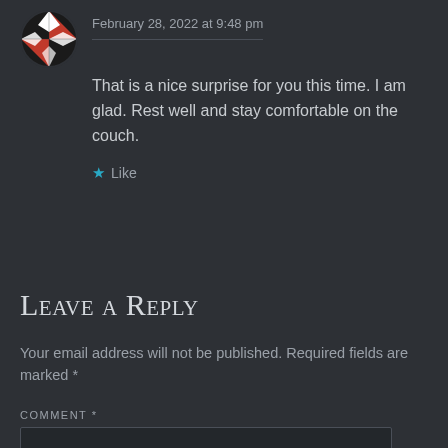February 28, 2022 at 9:48 pm
That is a nice surprise for you this time. I am glad. Rest well and stay comfortable on the couch.
★ Like
Leave a Reply
Your email address will not be published. Required fields are marked *
COMMENT *